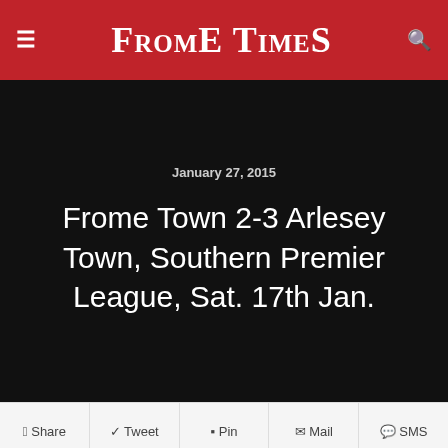Frome Times
January 27, 2015
Frome Town 2-3 Arlesey Town, Southern Premier League, Sat. 17th Jan.
Share  Tweet  Pin  Mail  SMS
Defensive frailties and a missed penalty cost Frome Town dearly in this game as they lost by the odd goal in five to Arlesey Town, who then moved above them in the relegation battle.